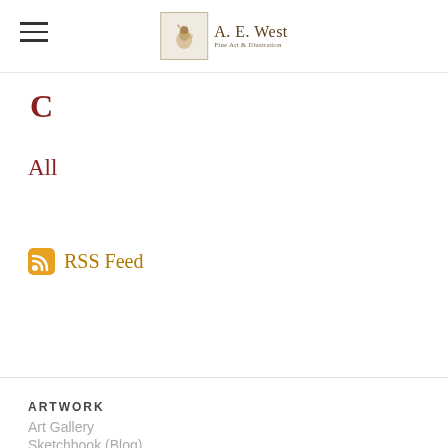A. E. West Fine Art & Illustration
C
All
RSS Feed
ARTWORK
Art Gallery
Sketchbook (Blog)
Graphic / Technical
Show Schedule
ARTIST
Biography
Gordon
Subjects